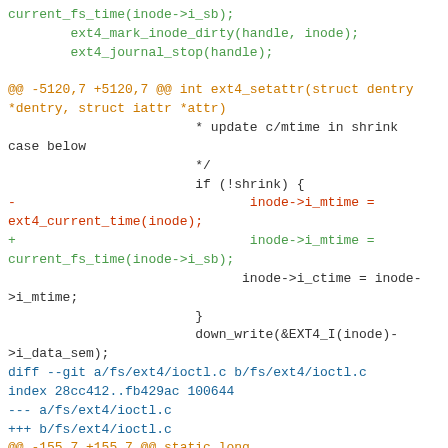[Figure (other): Git diff patch showing source code changes in ext4 filesystem files (inode.c and ioctl.c), with removed lines in red, added lines in green/blue, context lines in dark/plain color, and diff headers in orange/blue.]